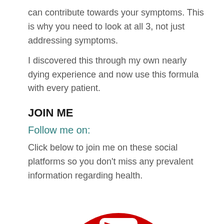can contribute towards your symptoms. This is why you need to look at all 3, not just addressing symptoms.
I discovered this through my own nearly dying experience and now use this formula with every patient.
JOIN ME
Follow me on:
Click below to join me on these social platforms so you don’t miss any prevalent information regarding health.
[Figure (logo): YouTube logo icon, red circle with white play button shape, partially cropped at bottom of page]